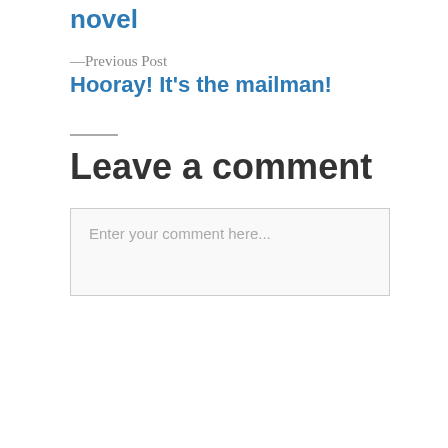Writing the world's greatest novel
—Previous Post
Hooray! It's the mailman!
Leave a comment
Enter your comment here...